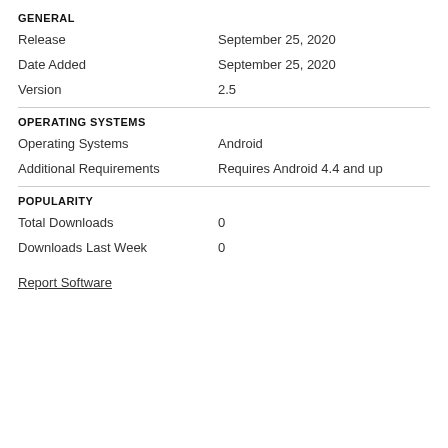GENERAL
Release	September 25, 2020
Date Added	September 25, 2020
Version	2.5
OPERATING SYSTEMS
Operating Systems	Android
Additional Requirements	Requires Android 4.4 and up
POPULARITY
Total Downloads	0
Downloads Last Week	0
Report Software